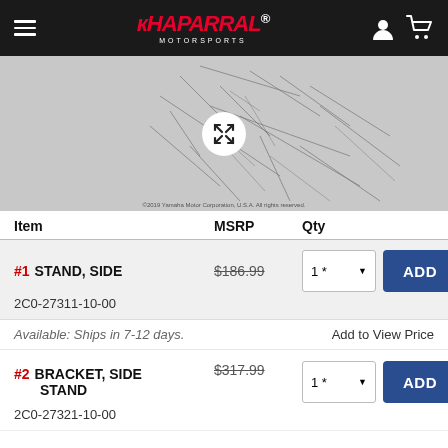Chaparral Motorsports
[Figure (illustration): Parts diagram schematic with expand/fullscreen button overlay]
| Item | MSRP | Qty |
| --- | --- | --- |
| #1 STAND, SIDE
2C0-27311-10-00 | $186.99 | 1 * |
| #2 BRACKET, SIDE STAND
2C0-27321-10-00 | $317.99 | 1 * |
Available: Ships in 7-12 days.
Add to View Price